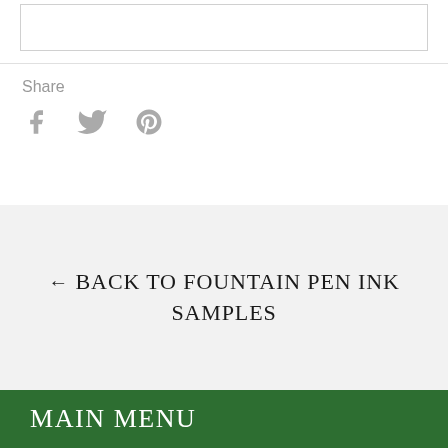[Figure (other): White image box with border at top of page]
Share
[Figure (other): Social media icons: Facebook (f), Twitter (bird), Pinterest (p) in gray]
← BACK TO FOUNTAIN PEN INK SAMPLES
MAIN MENU